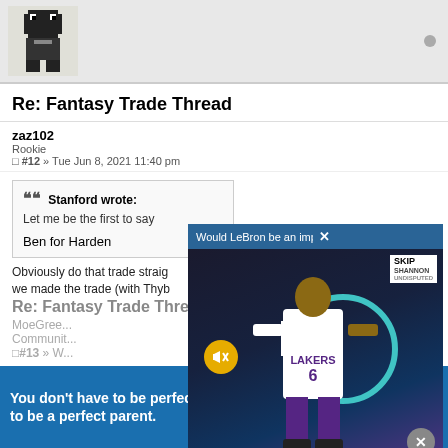[Figure (illustration): Pixel art avatar of a character, black and white 8-bit style]
Re: Fantasy Trade Thread
zaz102
Rookie
#12 » Tue Jun 8, 2021 11:40 pm
Stanford wrote:
Let me be the first to say...

Ben for Harden
Obviously do that trade straig... we made the trade (with Thyb...
[Figure (screenshot): Video overlay showing LeBron James in Lakers jersey #6 with title 'Would LeBron be an impact player in the...' and Skip and Shannon Undisputed logo]
Re: Fantasy Trade Thread
MoeGree...
Community...
#13 » W...
[Figure (infographic): Ad banner: You don't have to be perfect to be a perfect parent. Learn More About Adoption. AdoptUSKids logo.]